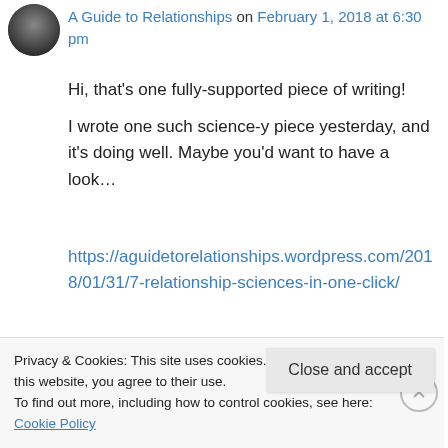A Guide to Relationships on February 1, 2018 at 6:30 pm
Hi, that's one fully-supported piece of writing! I wrote one such science-y piece yesterday, and it's doing well. Maybe you'd want to have a look…
https://aguidetorelationships.wordpress.com/2018/01/31/7-relationship-sciences-in-one-click/
I write similar material, please read for ideas, I'll read yours…
https://aguidetorelationships.wordpress.com/
Privacy & Cookies: This site uses cookies. By continuing to use this website, you agree to their use.
To find out more, including how to control cookies, see here: Cookie Policy
Close and accept